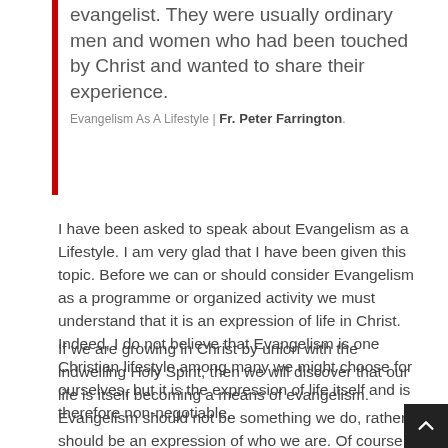evangelist. They were usually ordinary men and women who had been touched by Christ and wanted to share their experience.
Evangelism As A Lifestyle | Fr. Peter Farrington.
I have been asked to speak about Evangelism as a Lifestyle. I am very glad that I have been given this topic. Before we can or should consider Evangelism as a programme or organized activity we must understand that it is an expression of life in Christ. Indeed, I do not believe that Evangelism is one Christian lifestyle among many we might choose for ourselves, but it is the expression of life itself and is therefore non-negotiable.
If we are growing in Christ by union with the indwelling Holy Spirit, then we will discover that our life is itself becoming a means of evangelism. Evangelism should not be something we do, rather it should be an expression of who we are. Of course there are those who are gifted at explaining things in an apologetic manner. There are those who are gifted at preaching in such a way that God touches the hearts of others. The